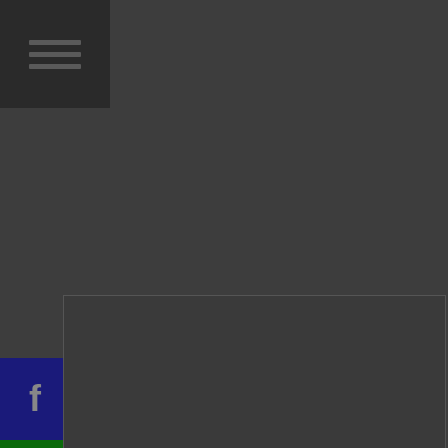[Figure (screenshot): Dark website interface with hamburger menu icon in top-left corner, Facebook/WhatsApp/Instagram social media icon buttons on left side, and a bordered content area in lower portion. Background is dark gray.]